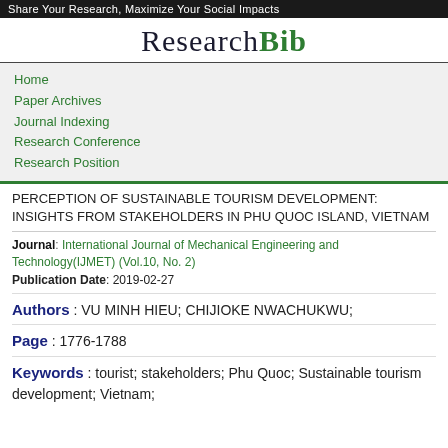Share Your Research, Maximize Your Social Impacts
ResearchBib
Home
Paper Archives
Journal Indexing
Research Conference
Research Position
PERCEPTION OF SUSTAINABLE TOURISM DEVELOPMENT: INSIGHTS FROM STAKEHOLDERS IN PHU QUOC ISLAND, VIETNAM
Journal: International Journal of Mechanical Engineering and Technology(IJMET) (Vol.10, No. 2)
Publication Date: 2019-02-27
Authors : VU MINH HIEU; CHIJIOKE NWACHUKWU;
Page : 1776-1788
Keywords : tourist; stakeholders; Phu Quoc; Sustainable tourism development; Vietnam;